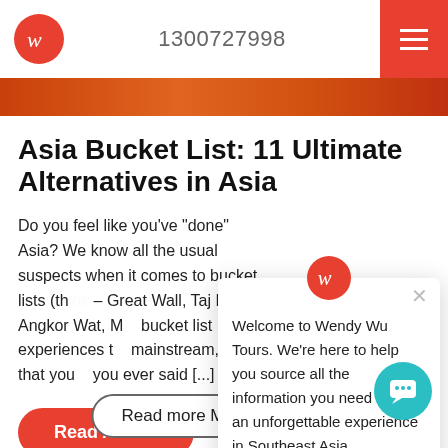1300727998
Asia Bucket List: 11 Ultimate Alternatives in Asia
Do you feel like you've “done” Asia? We know all the usual suspects when it comes to bucket lists (think – Great Wall, Taj Mahal, Angkor Wat, M... bucket list experiences t... mainstream, or that you... you ever said [...]
Welcome to Wendy Wu Tours. We’re here to help you source all the information you need to plan an unforgettable experience in Southeast Asia.
Read more Myanmar blogs